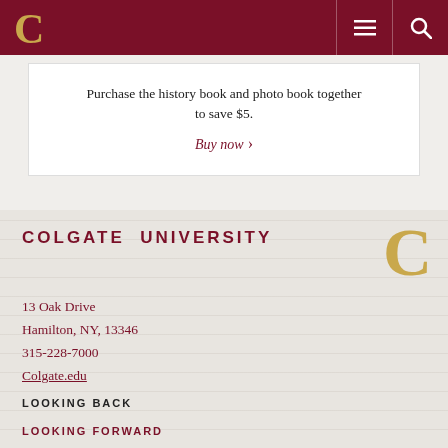C [Colgate University logo header with menu and search icons]
Purchase the history book and photo book together to save $5.
Buy now ›
COLGATE UNIVERSITY
13 Oak Drive
Hamilton, NY, 13346
315-228-7000
Colgate.edu
LOOKING BACK
LOOKING FORWARD